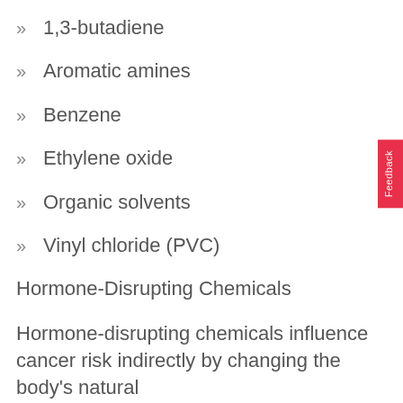1,3-butadiene
Aromatic amines
Benzene
Ethylene oxide
Organic solvents
Vinyl chloride (PVC)
Hormone-Disrupting Chemicals
Hormone-disrupting chemicals influence cancer risk indirectly by changing the body's natural